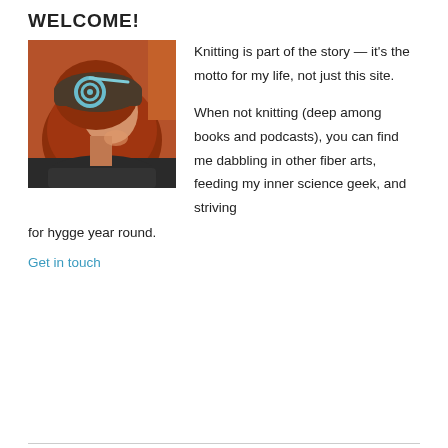WELCOME!
[Figure (photo): Person wearing a knitted headband with a spiral decorative element, red/auburn hair, side profile view]
Knitting is part of the story — it's the motto for my life, not just this site.

When not knitting (deep among books and podcasts), you can find me dabbling in other fiber arts, feeding my inner science geek, and striving for hygge year round.
Get in touch